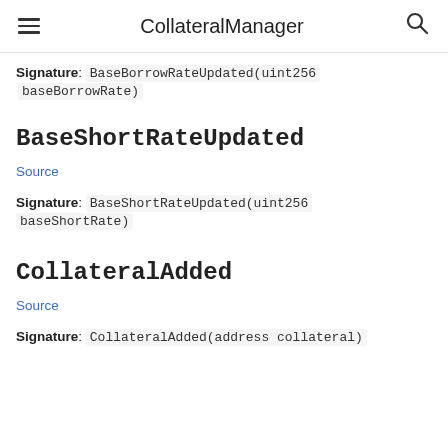CollateralManager
Signature: BaseBorrowRateUpdated(uint256 baseBorrowRate)
BaseShortRateUpdated
Source
Signature: BaseShortRateUpdated(uint256 baseShortRate)
CollateralAdded
Source
Signature: CollateralAdded(address collateral)